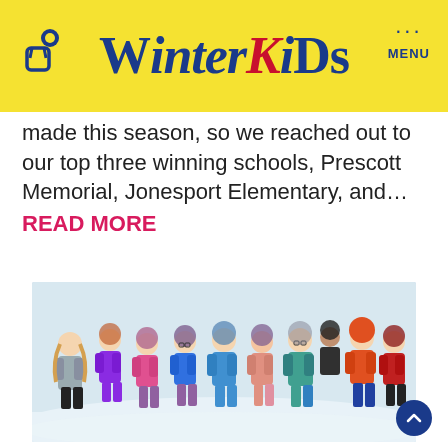WinterKids
made this season, so we reached out to our top three winning schools, Prescott Memorial, Jonesport Elementary, and…
READ MORE
[Figure (photo): Group of young children in winter clothing and snowshoes posing together in the snow, smiling at the camera.]